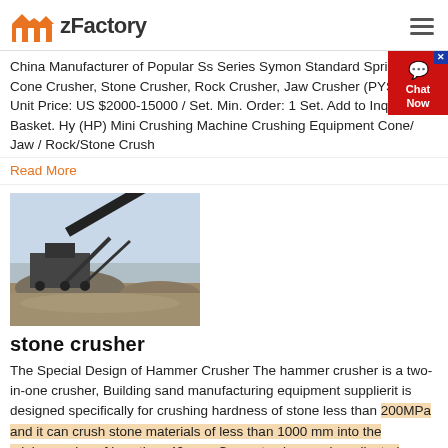zFactory
China Manufacturer of Popular Ss Series Symon Standard Spring Cone Crusher, Stone Crusher, Rock Crusher, Jaw Crusher (PYS-B) Unit Price: US $2000-15000 / Set. Min. Order: 1 Set. Add to Inquiry Basket. Hy (HP) Mini Crushing Machine Crushing Equipment Cone/ Jaw / Rock/Stone Crush
Read More
[Figure (photo): Photograph of a stone crusher machine/plant outdoors with a conveyor belt, surrounded by crushed stone piles.]
stone crusher
The Special Design of Hammer Crusher The hammer crusher is a two-in-one crusher, Building sand manufacturing equipment supplierit is designed specifically for crushing hardness of stone less than 200MPa and it can crush stone materials of less than 1000 mm into the minimum size of less than 40 mm. Concrete size can be adjusted according to customer requirements.The